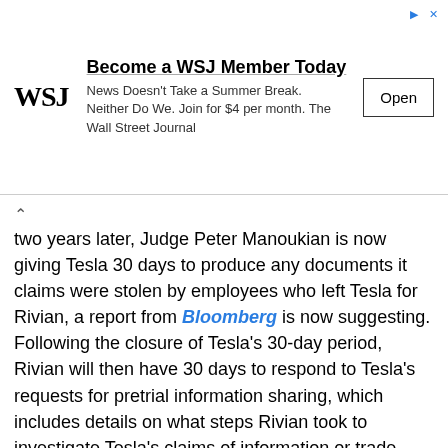[Figure (other): WSJ advertisement banner. Headline: 'Become a WSJ Member Today'. Subtext: 'News Doesn't Take a Summer Break. Neither Do We. Join for $4 per month. The Wall Street Journal'. Button: 'Open'. WSJ logo on left.]
two years later, Judge Peter Manoukian is now giving Tesla 30 days to produce any documents it claims were stolen by employees who left Tesla for Rivian, a report from Bloomberg is now suggesting. Following the closure of Tesla's 30-day period, Rivian will then have 30 days to respond to Tesla's requests for pretrial information sharing, which includes details on what steps Rivian took to investigate Tesla's claims of information or trade secret theft.
Judge Manoukian said the deadlines for both sides are important because they will bring "the best resolution for this important and interesting matter."
Tesla had another lawsuit nudged forward by a Judge in